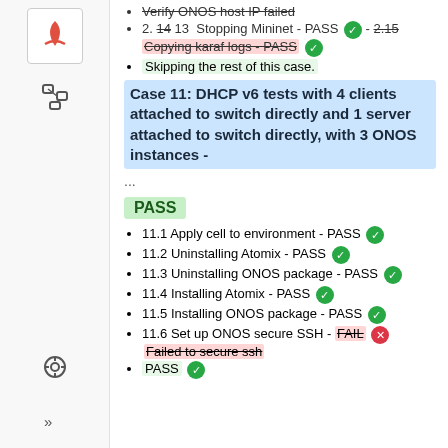Verify ONOS host IP failed
2. 14 (strikethrough) 13 Stopping Mininet - PASS ✓ - 2.15 (strikethrough) Copying karaf logs - PASS (strikethrough) ✓
Skipping the rest of this case.
Case 11: DHCP v6 tests with 4 clients attached to switch directly and 1 server attached to switch directly, with 3 ONOS instances -
...
PASS
11.1 Apply cell to environment - PASS ✓
11.2 Uninstalling Atomix - PASS ✓
11.3 Uninstalling ONOS package - PASS ✓
11.4 Installing Atomix - PASS ✓
11.5 Installing ONOS package - PASS ✓
11.6 Set up ONOS secure SSH - FAIL ✕ Failed to secure ssh
PASS ✓